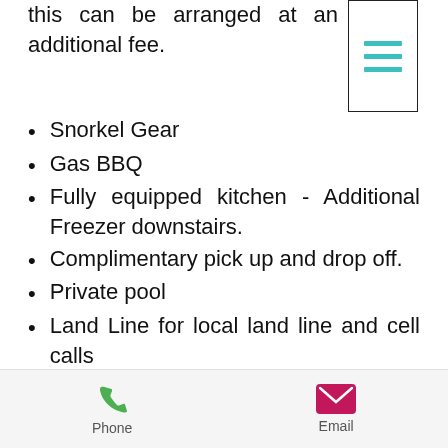this can be arranged at an additional fee.
Snorkel Gear
Gas BBQ
Fully equipped kitchen - Additional Freezer downstairs.
Complimentary pick up and drop off.
Private pool
Land Line for local land line and cell calls
Indoor/Outdoor stereo
Wifi and Cable TV
Phone   Email